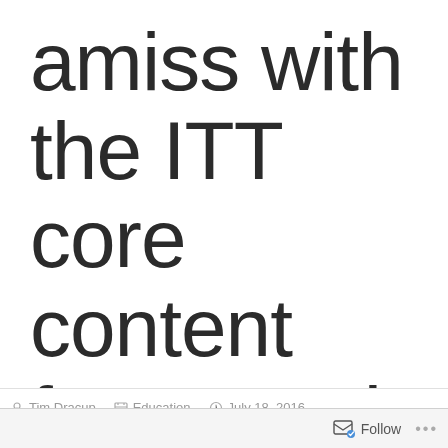amiss with the ITT core content framework?
Tim Dracup · Education · July 18, 2016
Follow